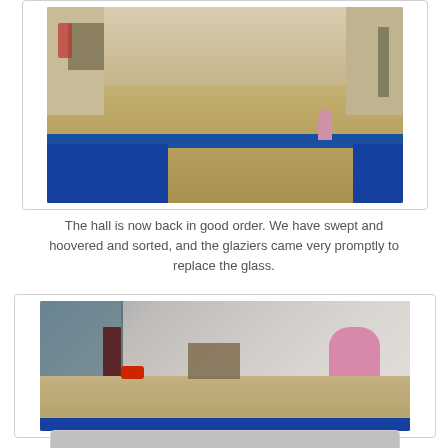[Figure (photo): Interior of a hall with a wooden floor, blue storage cabinets along the back wall, a person in pink clothing standing in the background, and a table with red chairs on the left side. The hall appears clean and tidy.]
The hall is now back in good order. We have swept and hoovered and sorted, and the glaziers came very promptly to replace the glass.
[Figure (photo): Interior of a room being cleaned, with a person standing on the left side, a red vacuum cleaner on the floor, tables and chairs in the centre, blue cabinets along the bottom, large windows on the left, and a person in pink clothing seated on the right.]
[Figure (photo): Partial view of another interior photo at the bottom of the page, partially cut off.]